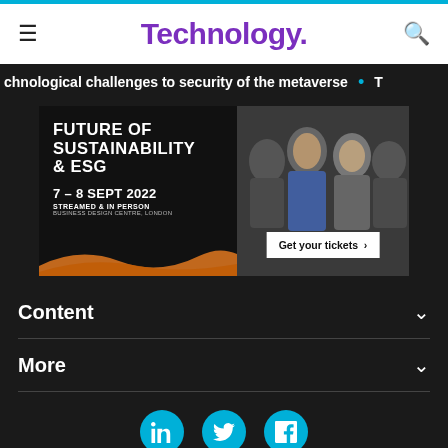Technology.
chnological challenges to security of the metaverse
[Figure (infographic): Advertisement banner for 'Future of Sustainability & ESG' event, 7-8 Sept 2022, Streamed & In Person, Business Design Centre, London. Features a 'Get your tickets >' button and group photo of speakers.]
Content
More
[Figure (infographic): Social media icons row: LinkedIn, Twitter, Facebook — teal circular buttons]